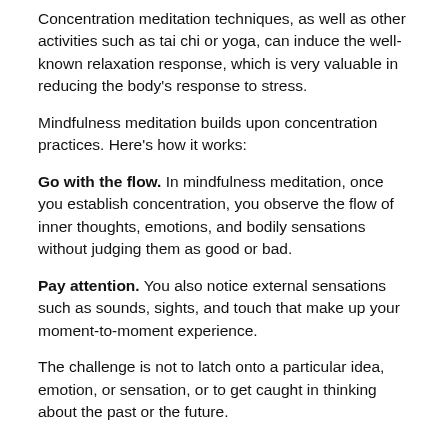Concentration meditation techniques, as well as other activities such as tai chi or yoga, can induce the well-known relaxation response, which is very valuable in reducing the body's response to stress.
Mindfulness meditation builds upon concentration practices. Here's how it works:
Go with the flow. In mindfulness meditation, once you establish concentration, you observe the flow of inner thoughts, emotions, and bodily sensations without judging them as good or bad.
Pay attention. You also notice external sensations such as sounds, sights, and touch that make up your moment-to-moment experience.
The challenge is not to latch onto a particular idea, emotion, or sensation, or to get caught in thinking about the past or the future.